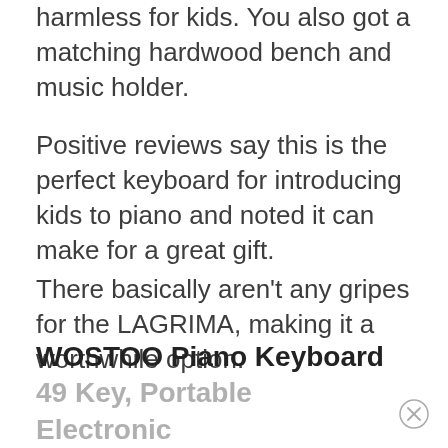harmless for kids. You also got a matching hardwood bench and music holder.
Positive reviews say this is the perfect keyboard for introducing kids to piano and noted it can make for a great gift.
There basically aren't any gripes for the LAGRIMA, making it a worthwhile option.
WOSTOO Piano Keyboard 49 Key, Portable Electronic